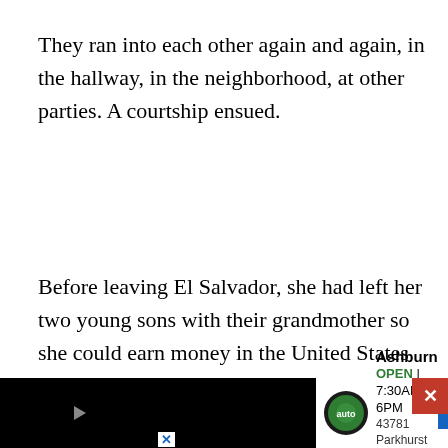They ran into each other again and again, in the hallway, in the neighborhood, at other parties. A courtship ensued.
Before leaving El Salvador, she had left her two young sons with their grandmother so she could earn money in the United States and return to start a business. But her family told her she couldn't come home, it was too dangerous
One day, she told Agustin needed to go back to fetch her sons and help them cross the border illegally. The boys were 12 and 9. They were too young to travel by themselves with a coyote, she argued.
[Figure (screenshot): Advertisement banner for 'instauto' Ashburn location. Shows OPEN 7:30AM-6PM, address 43781 Parkhurst Plaza, Ashburn. Green circle logo, blue arrow direction sign. Black background with white ad panel. Red X close button in top right corner.]